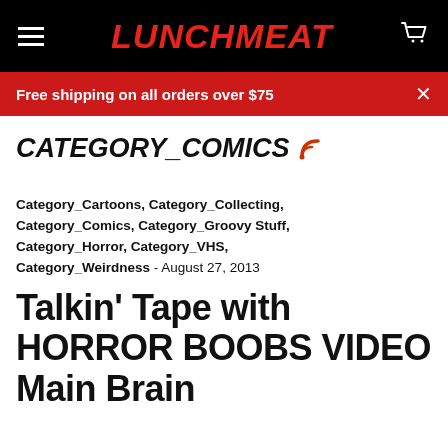LUNCHMEAT
Free shipping on all orders over $75
CATEGORY_COMICS
Category_Cartoons, Category_Collecting, Category_Comics, Category_Groovy Stuff, Category_Horror, Category_VHS, Category_Weirdness - August 27, 2013
Talkin' Tape with HORROR BOOBS VIDEO Main Brain